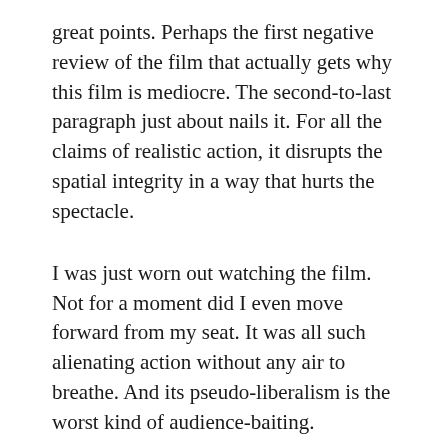great points. Perhaps the first negative review of the film that actually gets why this film is mediocre. The second-to-last paragraph just about nails it. For all the claims of realistic action, it disrupts the spatial integrity in a way that hurts the spectacle.
I was just worn out watching the film. Not for a moment did I even move forward from my seat. It was all such alienating action without any air to breathe. And its pseudo-liberalism is the worst kind of audience-baiting.
Bravo!